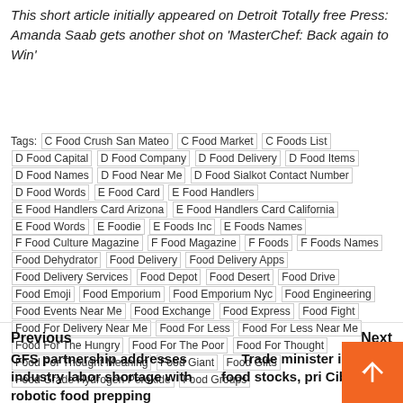This short article initially appeared on Detroit Totally free Press: Amanda Saab gets another shot on 'MasterChef: Back again to Win'
Tags: C Food Crush San Mateo | C Food Market | C Foods List | D Food Capital | D Food Company | D Food Delivery | D Food Items | D Food Names | D Food Near Me | D Food Sialkot Contact Number | D Food Words | E Food Card | E Food Handlers | E Food Handlers Card Arizona | E Food Handlers Card California | E Food Words | E Foodie | E Foods Inc | E Foods Names | F Food Culture Magazine | F Food Magazine | F Foods | F Foods Names | Food Dehydrator | Food Delivery | Food Delivery Apps | Food Delivery Services | Food Depot | Food Desert | Food Drive | Food Emoji | Food Emporium | Food Emporium Nyc | Food Engineering | Food Events Near Me | Food Exchange | Food Express | Food Fight | Food For Delivery Near Me | Food For Less | Food For Less Near Me | Food For The Hungry | Food For The Poor | Food For Thought | Food For Thought Meaning | Food Giant | Food Gifts | Food Grade Hydrogen Peroxide | Food Groups
Previous
Next
GFS partnership addresses industry labor shortage with robotic food prepping
Trade minister inspects food stocks, pric... Cibubur M...